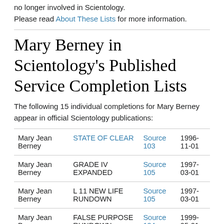no longer involved in Scientology.
Please read About These Lists for more information.
Mary Berney in Scientology's Published Service Completion Lists
The following 15 individual completions for Mary Berney appear in official Scientology publications:
| Name | Service | Source | Date |
| --- | --- | --- | --- |
| Mary Jean Berney | STATE OF CLEAR | Source 103 | 1996-11-01 |
| Mary Jean Berney | GRADE IV EXPANDED | Source 105 | 1997-03-01 |
| Mary Jean Berney | L 11 NEW LIFE RUNDOWN | Source 105 | 1997-03-01 |
| Mary Jean Berney | FALSE PURPOSE RUNDOWN | Source 124 | 1999-05-01 |